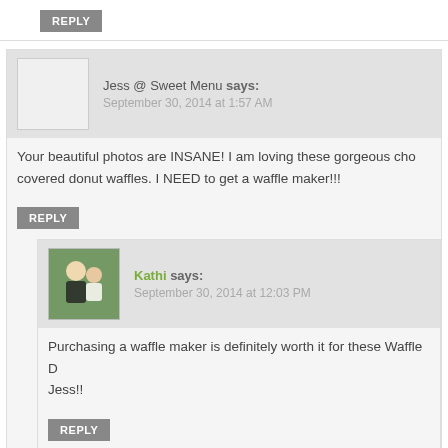REPLY
Jess @ Sweet Menu says: September 30, 2014 at 1:57 AM
Your beautiful photos are INSANE! I am loving these gorgeous cho… covered donut waffles. I NEED to get a waffle maker!!!
REPLY
Kathi says: September 30, 2014 at 12:03 PM
Purchasing a waffle maker is definitely worth it for these Waffle D… Jess!!
REPLY